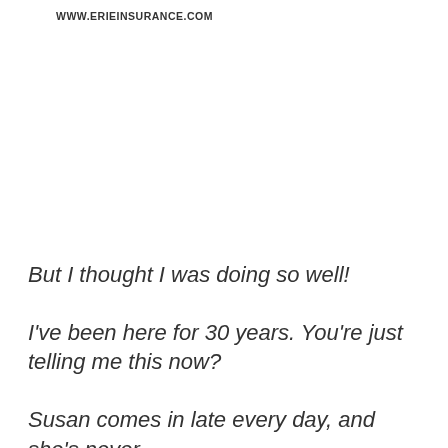WWW.ERIEINSURANCE.COM
But I thought I was doing so well!
I've been here for 30 years. You're just telling me this now?
Susan comes in late every day, and she's never